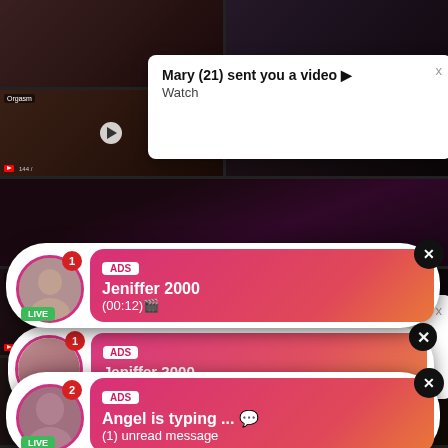[Figure (screenshot): Background grid of video thumbnails from adult content website]
Mary (21) sent you a video ▶ Watch
Mary (21) sent you a video ▶ Watch
ADS Jeniffer 2000 (00:12)🎬
ADS Angel is typing ... 💬 (1) unread message
Orgasm
144 /
Boyf
11